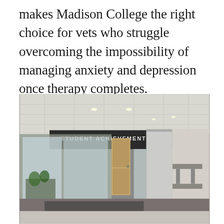makes Madison College the right choice for vets who struggle overcoming the impossibility of managing anxiety and depression once therapy completes.
[Figure (photo): Interior photo of Madison College's Student Achievement Center hallway. A dark sign with 'STUDENT ACHIEVEMENT CENTER' in white letters is visible. The space shows glass-walled rooms, a large column, carpeted floors, and office/study areas visible in the background.]